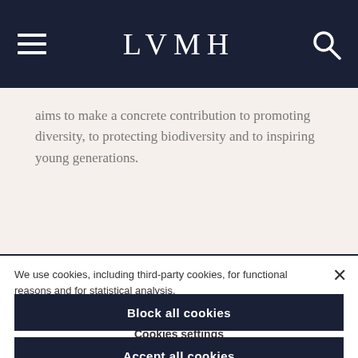LVMH
aims to make a concrete contribution to promoting diversity, to protecting biodiversity and to inspiring young generations.
We use cookies, including third-party cookies, for functional reasons and for statistical analysis.
Cookies settings
Block all cookies
Accept all cookies